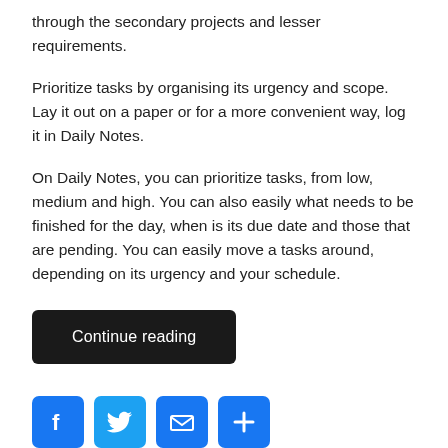through the secondary projects and lesser requirements.
Prioritize tasks by organising its urgency and scope. Lay it out on a paper or for a more convenient way, log it in Daily Notes.
On Daily Notes, you can prioritize tasks, from low, medium and high. You can also easily what needs to be finished for the day, when is its due date and those that are pending. You can easily move a tasks around, depending on its urgency and your schedule.
Continue reading
[Figure (infographic): Four social sharing icons: Facebook (blue, F logo), Twitter (blue, bird logo), Mail (blue, envelope), Share/Plus (blue, plus sign)]